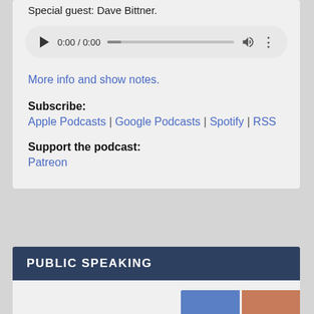Special guest: Dave Bittner.
[Figure (other): Audio player widget showing 0:00 / 0:00 with play button, progress bar, volume icon, and more options icon.]
More info and show notes.
Subscribe:
Apple Podcasts | Google Podcasts | Spotify | RSS
Support the podcast:
Patreon
PUBLIC SPEAKING
[Figure (other): Partial image thumbnails visible at bottom right of page.]